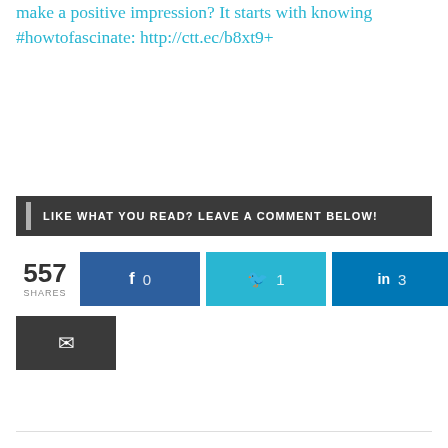make a positive impression? It starts with knowing #howtofascinate: http://ctt.ec/b8xt9+
LIKE WHAT YOU READ? LEAVE A COMMENT BELOW!
[Figure (infographic): Social share buttons showing 557 total shares: Facebook 0, Twitter 1, LinkedIn 3, Pinterest 553, and an email button]
557 SHARES